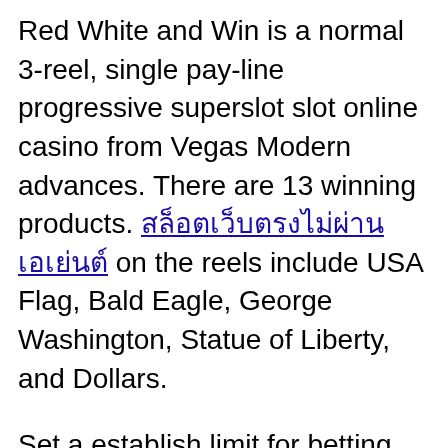Red White and Win is a normal 3-reel, single pay-line progressive superslot slot online casino from Vegas Modern advances. There are 13 winning products. [Thai text link] on the reels include USA Flag, Bald Eagle, George Washington, Statue of Liberty, and Dollars.
Set a establish limit for betting for yourself whether tend to be on online slot or even in land gambling establishment. If you start winning then don't get too cloudy, to avoid to lose or get addicted into it. If you start losing do not try it “one more time”.
There are a lot of other money games and tournaments available online like Rummy, Backgammon or Mahjong an individual can